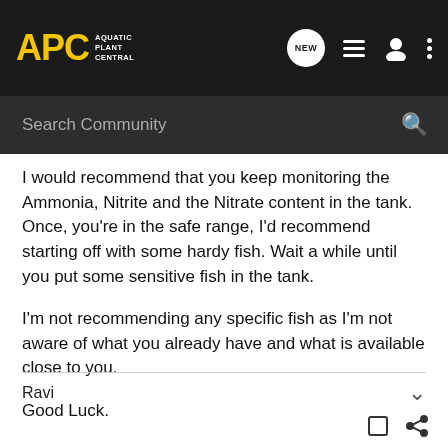[Figure (screenshot): APC Aquatic Plant Central navigation bar with logo, NEW chat bubble icon, list icon, user icon, and three-dot menu]
[Figure (screenshot): Search Community search bar on dark background with search icon]
I would recommend that you keep monitoring the Ammonia, Nitrite and the Nitrate content in the tank. Once, you're in the safe range, I'd recommend starting off with some hardy fish. Wait a while until you put some sensitive fish in the tank.
I'm not recommending any specific fish as I'm not aware of what you already have and what is available close to you.
Good Luck.
Ravi